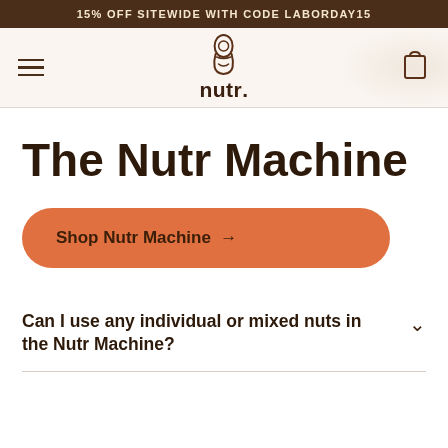15% OFF SITEWIDE WITH CODE LABORDAY15
[Figure (logo): Nutr brand logo with jar icon and stylized 'nutr.' wordmark]
The Nutr Machine
Shop Nutr Machine →
Can I use any individual or mixed nuts in the Nutr Machine?